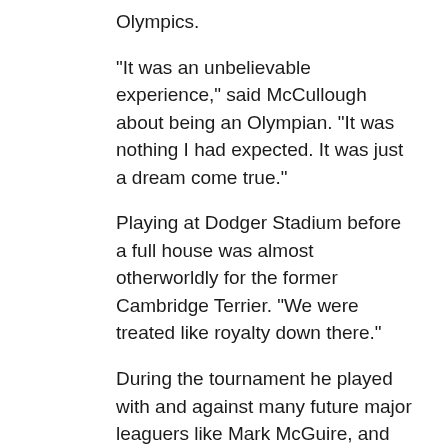Olympics.
“It was an unbelievable experience,” said McCullough about being an Olympian. “It was nothing I had expected. It was just a dream come true.”
Playing at Dodger Stadium before a full house was almost otherworldly for the former Cambridge Terrier. “We were treated like royalty down there.”
During the tournament he played with and against many future major leaguers like Mark McGuire, and teammates Mark Gardner and Steve Wilson. Gardner, a Sarnia native, went on to pitch with the Boston Red